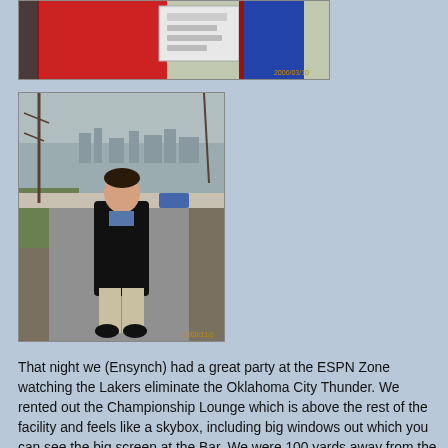[Figure (photo): Top photo showing a red kiosk or machine outdoors with a blue panel, partial view cropped at top]
[Figure (photo): Man in black coat and khaki pants standing on a paved path with a city skyline and bare trees in the background, likely Prague]
That night we (Ensynch) had a great party at the ESPN Zone watching the Lakers eliminate the Oklahoma City Thunder. We rented out the Championship Lounge which is above the rest of the facility and feels like a skybox, including big windows out which you can see the big screen at the Bar. We were 100 yards away from the Staples center so after the game we had to fend off some crazy att...